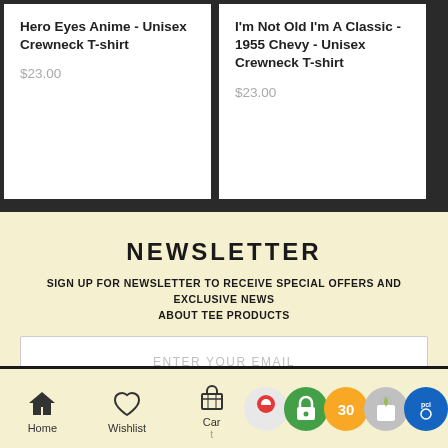Hero Eyes Anime - Unisex Crewneck T-shirt
$23.00
I'm Not Old I'm A Classic - 1955 Chevy - Unisex Crewneck T-shirt
$23.00
NEWSLETTER
SIGN UP FOR NEWSLETTER TO RECEIVE SPECIAL OFFERS AND EXCLUSIVE NEWS ABOUT TEE PRODUCTS
ENTER YOUR EMAIL
Home  Wishlist  Cart